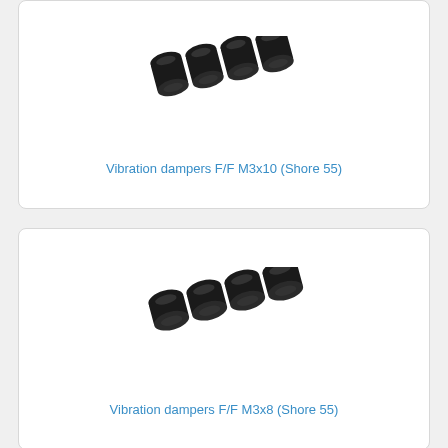[Figure (photo): Four black rubber vibration dampers F/F M3x10 (Shore 55) arranged in a diagonal row on white background]
Vibration dampers F/F M3x10 (Shore 55)
[Figure (photo): Four black rubber vibration dampers F/F M3x8 (Shore 55) arranged in a diagonal row on white background]
Vibration dampers F/F M3x8 (Shore 55)